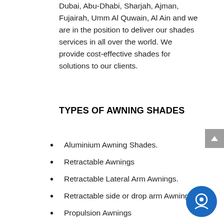Dubai, Abu-Dhabi, Sharjah, Ajman, Fujairah, Umm Al Quwain, Al Ain and we are in the position to deliver our shades services in all over the world. We provide cost-effective shades for solutions to our clients.
TYPES OF AWNING SHADES
Aluminium Awning Shades.
Retractable Awnings
Retractable Lateral Arm Awnings.
Retractable side or drop arm Awnings
Propulsion Awnings